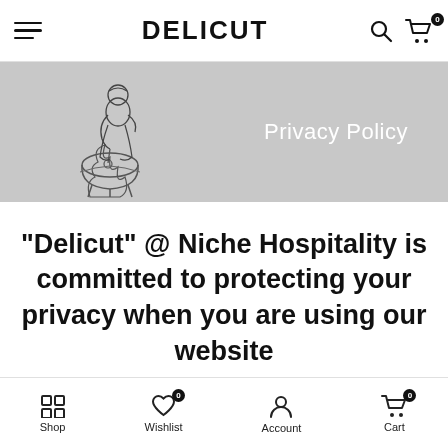DELICUT — navigation bar with hamburger menu, logo, search and cart icons
[Figure (illustration): Grey banner with a vintage line illustration of a person cooking over a fire, with text 'Privacy Policy']
"Delicut" @ Niche Hospitality is committed to protecting your privacy when you are using our website
Shop | Wishlist (0) | Account | Cart (0)